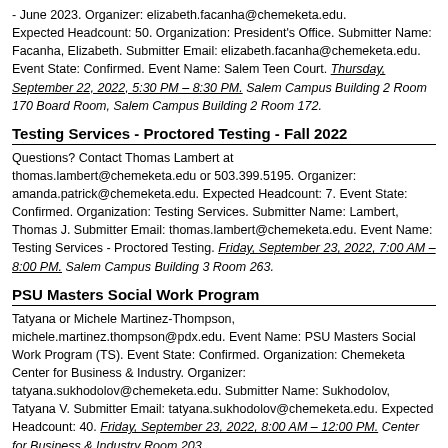- June 2023. Organizer: elizabeth.facanha@chemeketa.edu. Expected Headcount: 50. Organization: President's Office. Submitter Name: Facanha, Elizabeth. Submitter Email: elizabeth.facanha@chemeketa.edu. Event State: Confirmed. Event Name: Salem Teen Court. Thursday, September 22, 2022, 5:30 PM – 8:30 PM. Salem Campus Building 2 Room 170 Board Room, Salem Campus Building 2 Room 172.
Testing Services - Proctored Testing - Fall 2022
Questions? Contact Thomas Lambert at thomas.lambert@chemeketa.edu or 503.399.5195. Organizer: amanda.patrick@chemeketa.edu. Expected Headcount: 7. Event State: Confirmed. Organization: Testing Services. Submitter Name: Lambert, Thomas J. Submitter Email: thomas.lambert@chemeketa.edu. Event Name: Testing Services - Proctored Testing. Friday, September 23, 2022, 7:00 AM – 8:00 PM. Salem Campus Building 3 Room 263.
PSU Masters Social Work Program
Tatyana or Michele Martinez-Thompson, michele.martinez.thompson@pdx.edu. Event Name: PSU Masters Social Work Program (TS). Event State: Confirmed. Organization: Chemeketa Center for Business & Industry. Organizer: tatyana.sukhodolov@chemeketa.edu. Submitter Name: Sukhodolov, Tatyana V. Submitter Email: tatyana.sukhodolov@chemeketa.edu. Expected Headcount: 40. Friday, September 23, 2022, 8:00 AM – 12:00 PM. Center for Business & Industry Room 203.
TRIO/SSP Student Orientation